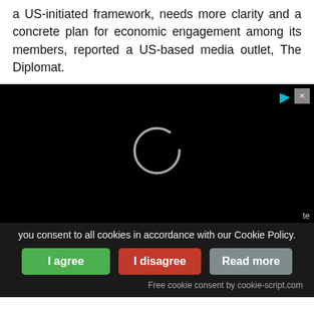a US-initiated framework, needs more clarity and a concrete plan for economic engagement among its members, reported a US-based media outlet, The Diplomat.
[Figure (screenshot): Black video player area with a loading spinner (circle) in the center, a close X button top right, and a cyan triangle logo icon top right corner.]
you consent to all cookies in accordance with our Cookie Policy.
I agree
I disagree
Read more
Free cookie consent by cookie-script.com